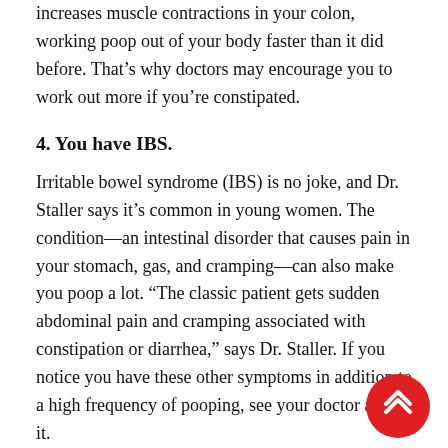increases muscle contractions in your colon, working poop out of your body faster than it did before. That’s why doctors may encourage you to work out more if you’re constipated.
4. You have IBS.
Irritable bowel syndrome (IBS) is no joke, and Dr. Staller says it’s common in young women. The condition—an intestinal disorder that causes pain in your stomach, gas, and cramping—can also make you poop a lot. “The classic patient gets sudden abdominal pain and cramping associated with constipation or diarrhea,” says Dr. Staller. If you notice you have these other symptoms in addition to a high frequency of pooping, see your doctor about it.
5. You’re stressed out.
[Figure (other): Red circular floating action button with double up-chevron arrow icon]